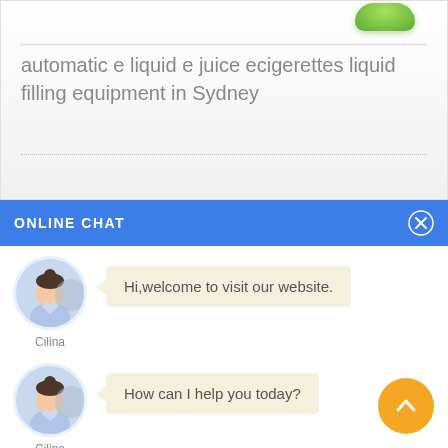[Figure (photo): Green bottle cap visible at top of product card]
automatic e liquid e juice ecigerettes liquid filling equipment in Sydney
ONLINE CHAT
[Figure (photo): Avatar photo of Cilina, a woman in light blue shirt]
Hi,welcome to visit our website.
Cilina
[Figure (photo): Avatar photo of Cilina, a woman in light blue shirt]
How can I help you today?
Cilina